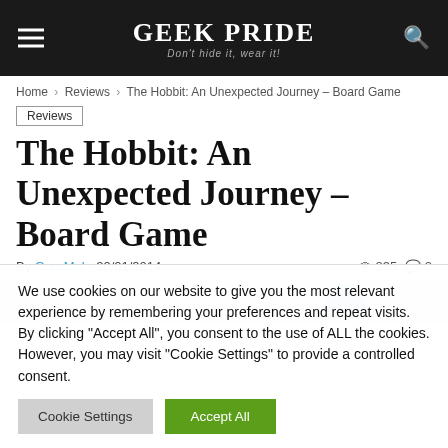GEEK PRIDE — Don't hide it, wear it!
Home › Reviews › The Hobbit: An Unexpected Journey – Board Game
Reviews
The Hobbit: An Unexpected Journey – Board Game
By GuruMel - 20/01/2014   235  0
[Figure (photo): Partial view of board game piece, blue colored, on light background]
We use cookies on our website to give you the most relevant experience by remembering your preferences and repeat visits. By clicking "Accept All", you consent to the use of ALL the cookies. However, you may visit "Cookie Settings" to provide a controlled consent.